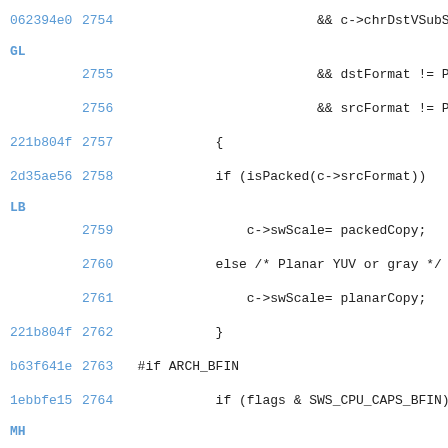062394e0  2754                              && c->chrDstVSubSample ==
GL
          2755                              && dstFormat != PIX_FMT_N
          2756                              && srcFormat != PIX_FMT_N
221b804f  2757              {
2d35ae56  2758              if (isPacked(c->srcFormat))
LB
          2759                  c->swScale= packedCopy;
          2760              else /* Planar YUV or gray */
          2761                  c->swScale= planarCopy;
221b804f  2762              }
b63f641e  2763  #if ARCH_BFIN
1ebbfe15  2764              if (flags & SWS_CPU_CAPS_BFIN)
MH
          2765              ff_bfin_get_unscaled_swscale
2766  #endif
2767
dd68318c  2768              if (c->swScale) {